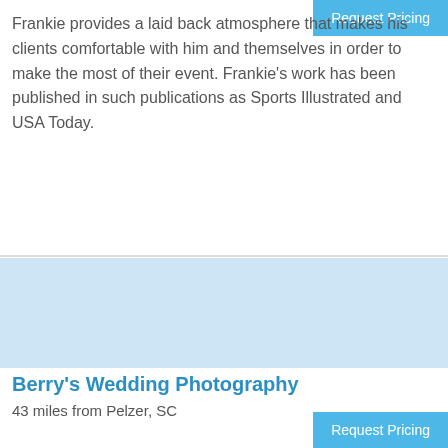Request Pricing
Frankie provides a laid back atmosphere that makes his clients comfortable with him and themselves in order to make the most of their event. Frankie's work has been published in such publications as Sports Illustrated and USA Today.
[Figure (other): Light blue image placeholder area]
Berry's Wedding Photography
43 miles from Pelzer, SC
Request Pricing